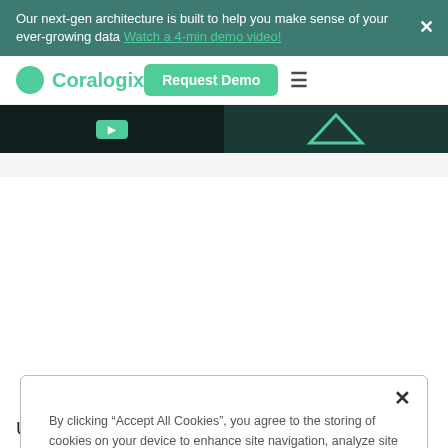Our next-gen architecture is built to help you make sense of your ever-growing data Watch a 4-min demo video!
Coralogix
[Figure (screenshot): Hero image strip showing dark teal/black background with a teal button visible on the left half]
By clicking “Accept All Cookies”, you agree to the storing of cookies on your device to enhance site navigation, analyze site usage, and assist in our marketing efforts.
Reject All
Accept All Cookies
Cookies Settings
Use the Logs2Metrics feature to generate